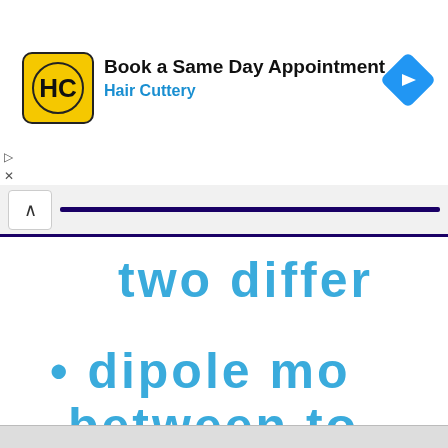[Figure (screenshot): Hair Cuttery advertisement banner with yellow logo icon showing 'HC' in black, text 'Book a Same Day Appointment' in bold and 'Hair Cuttery' in blue, with a blue navigation arrow diamond icon on the right.]
two differ
• dipole mo
between to